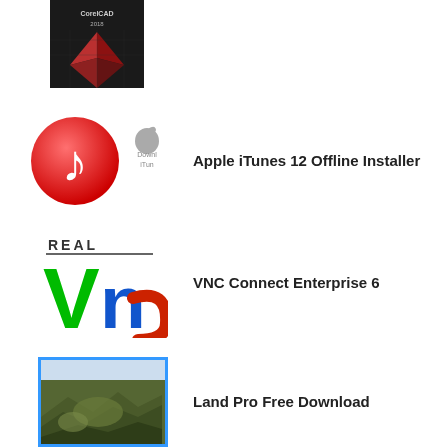[Figure (logo): CorelCAD 2018 software box art — dark background with geometric pyramid shape, partial crop at top]
[Figure (logo): Apple iTunes 12 logo — red circle with white music note, Apple badge with 'Download iTunes' text beside it]
Apple iTunes 12 Offline Installer
[Figure (logo): VNC Connect logo — large green V and blue n letters with REAL text above and red curved shape]
VNC Connect Enterprise 6
[Figure (screenshot): Land Pro software screenshot showing aerial terrain/topography view with blue border]
Land Pro Free Download
[Figure (logo): AnyDesk logo — red background with white diamond and double chevron arrow shapes]
AnyDesk 2022 Free Download
[Figure (logo): SUPER AntiSpyWare Professional 10 logo — orange background, partial view]
SUPER AntiSpyWare Professional 10